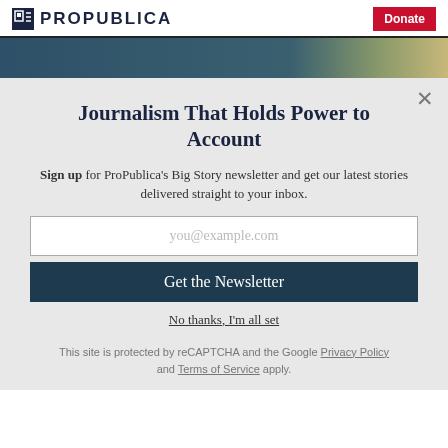ProPublica | Donate
[Figure (photo): Dark teal and cream/gold abstract banner image strip]
Journalism That Holds Power to Account
Sign up for ProPublica's Big Story newsletter and get our latest stories delivered straight to your inbox.
you@example.com
Get the Newsletter
No thanks, I'm all set
This site is protected by reCAPTCHA and the Google Privacy Policy and Terms of Service apply.